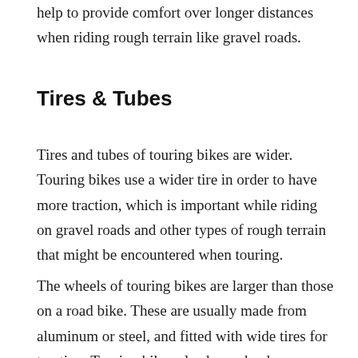help to provide comfort over longer distances when riding rough terrain like gravel roads.
Tires & Tubes
Tires and tubes of touring bikes are wider. Touring bikes use a wider tire in order to have more traction, which is important while riding on gravel roads and other types of rough terrain that might be encountered when touring.
The wheels of touring bikes are larger than those on a road bike. These are usually made from aluminum or steel, and fitted with wide tires for traction. Touring bikes also have shock-absorbers